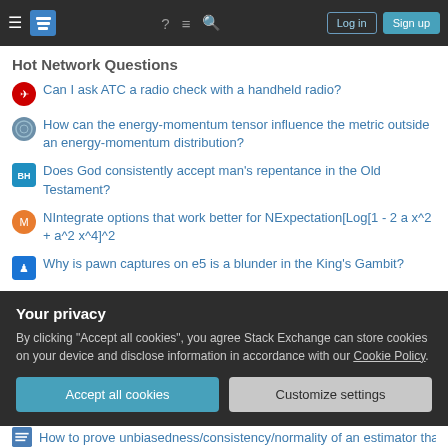Stack Exchange navigation bar with hamburger menu, logo, help, chat, search icons, Log in and Sign up buttons
Hot Network Questions
Can I ask ATC a radio check with a handheld radio?
How can the energy-momentum tensor influence the metric outside an energy-momentum distribution?
Does God consistently accept man's repentance in the Old Testament?
NIntegrate options that work better for NExpectation[Log[1 - 2 a x^2 + a^2 x^4]^2
Why is pawn captures on e5 is a blunder in the King's Gambit?
What is the average annual increase in the pollination rate?
4-20mA ADC, HV DC measurement & DC/DC PSUs schematic
Your privacy
By clicking "Accept all cookies", you agree Stack Exchange can store cookies on your device and disclose information in accordance with our Cookie Policy.
How to prove unbiasedness/consistency/normality of an estimator that